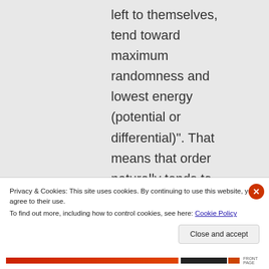left to themselves, tend toward maximum randomness and lowest energy (potential or differential)". That means that order naturally tends to degenerate into randomness
Privacy & Cookies: This site uses cookies. By continuing to use this website, you agree to their use.
To find out more, including how to control cookies, see here: Cookie Policy
Close and accept